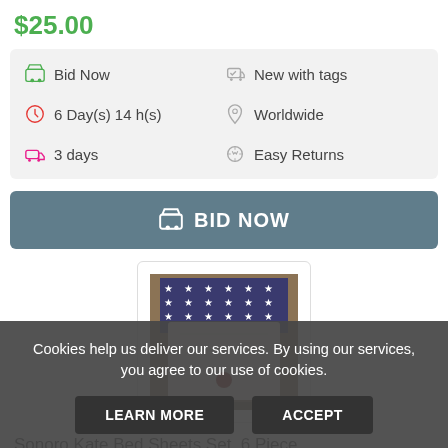$25.00
Bid Now | New with tags | 6 Day(s) 14 h(s) | Worldwide | 3 days | Easy Returns
BID NOW
[Figure (photo): Thumbnail product image of a white item with an American flag background]
Sonoro Kate Bed Sheets Set, 6 Piece
Cookies help us deliver our services. By using our services, you agree to our use of cookies.
LEARN MORE | ACCEPT